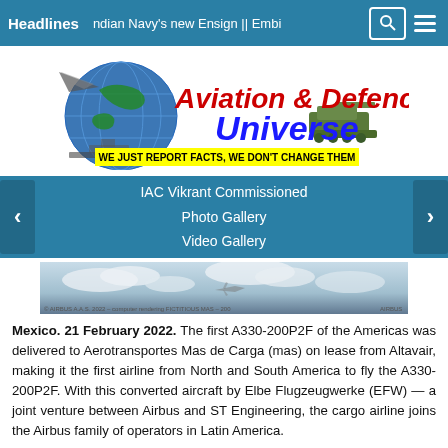Headlines   ndian Navy's new Ensign || Embi
[Figure (logo): Aviation & Defence Universe logo with globe and military vehicles. Tagline: WE JUST REPORT FACTS, WE DON'T CHANGE THEM]
IAC Vikrant Commissioned
Photo Gallery
Video Gallery
[Figure (photo): Aerial/sky photo of an aircraft with clouds, Airbus copyright watermark]
Mexico. 21 February 2022. The first A330-200P2F of the Americas was delivered to Aerotransportes Mas de Carga (mas) on lease from Altavair, making it the first airline from North and South America to fly the A330-200P2F. With this converted aircraft by Elbe Flugzeugwerke (EFW) — a joint venture between Airbus and ST Engineering, the cargo airline joins the Airbus family of operators in Latin America.